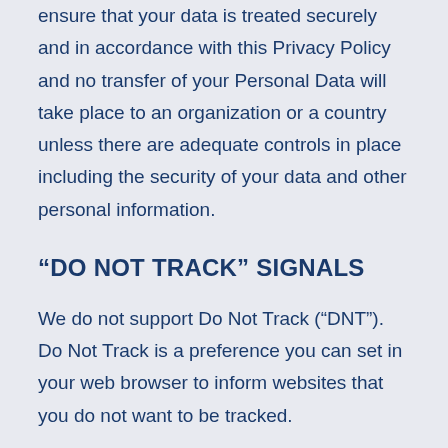ensure that your data is treated securely and in accordance with this Privacy Policy and no transfer of your Personal Data will take place to an organization or a country unless there are adequate controls in place including the security of your data and other personal information.
“DO NOT TRACK” SIGNALS
We do not support Do Not Track (“DNT”). Do Not Track is a preference you can set in your web browser to inform websites that you do not want to be tracked.